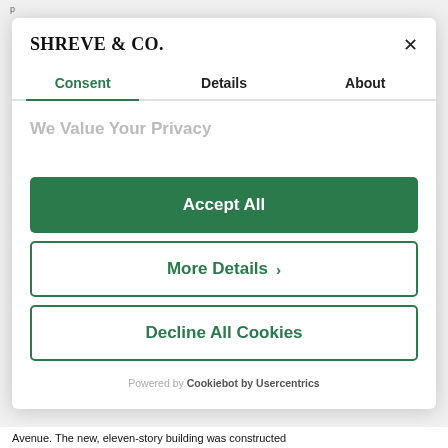Shreve & Co.
Consent | Details | About
We Value Your Privacy
[blurred privacy description text]
Accept All
More Details >
Decline All Cookies
Powered by Cookiebot by Usercentrics
Avenue. The new, eleven-story building was constructed